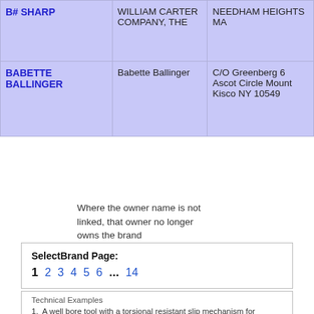| Brand/Name | Owner | Location |
| --- | --- | --- |
| B# SHARP | WILLIAM CARTER COMPANY, THE | NEEDHAM HEIGHTS MA |
| BABETTE BALLINGER | Babette Ballinger | C/O Greenberg 6 Ascot Circle Mount Kisco NY 10549 |
Where the owner name is not linked, that owner no longer owns the brand
SelectBrand Page:
1 2 3 4 5 6 ... 14
Technical Examples
1. A well bore tool with a torsional resistant slip mechanism for resisting axial